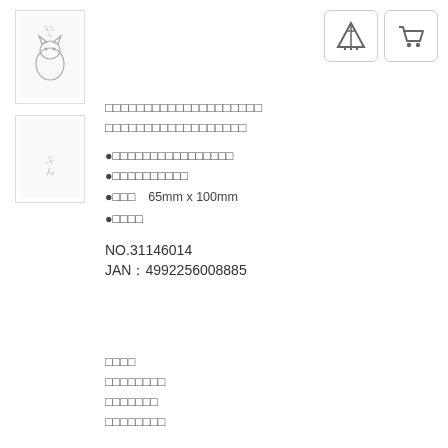[Figure (illustration): Small product image showing a cartoon cat figure with Japanese text]
[Figure (illustration): Small product image showing a bookmark/card with Japanese script text]
[Figure (logo): Teepee/tent icon button]
[Figure (logo): Shopping cart icon button]
□□□□□□□□□□□□□□□□□□□□
□□□□□□□□□□□□□□□□□□
●□□□□□□□□□□□□□□□□
●□□□□□□□□□□
●□□□　65mm x 100mm
●□□□□
NO.31146014
JAN：4992256008885
□□□□
□□□□□□□□
□□□□□□□
□□□□□□□□